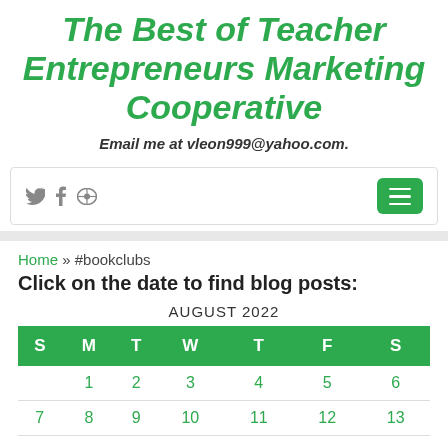The Best of Teacher Entrepreneurs Marketing Cooperative
Email me at vleon999@yahoo.com.
[Figure (screenshot): Navigation bar with social media icons (Twitter, Facebook, Pinterest) and green hamburger menu button]
Home » #bookclubs
Click on the date to find blog posts:
| S | M | T | W | T | F | S |
| --- | --- | --- | --- | --- | --- | --- |
|  | 1 | 2 | 3 | 4 | 5 | 6 |
| 7 | 8 | 9 | 10 | 11 | 12 | 13 |